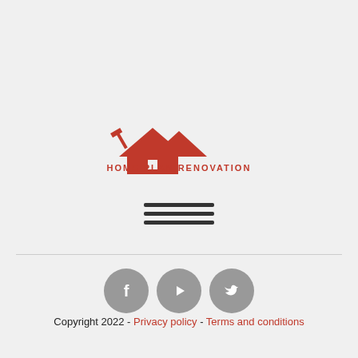[Figure (logo): Home Plan Renovation logo: red house rooftop silhouette with tools and text 'HOME PLAN RENOVATION' in red]
[Figure (other): Hamburger menu icon: three horizontal dark lines]
[Figure (other): Three social media icon buttons: Facebook, YouTube, Twitter — grey circles with white icons]
Copyright 2022 - Privacy policy - Terms and conditions